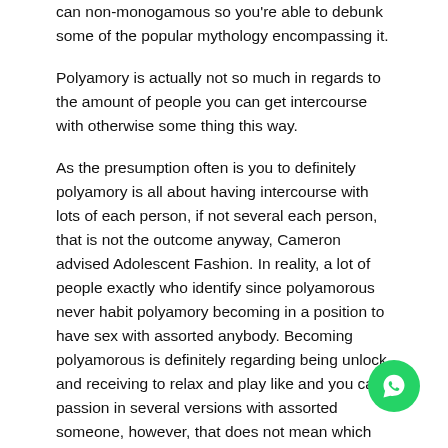can non-monogamous so you're able to debunk some of the popular mythology encompassing it.
Polyamory is actually not so much in regards to the amount of people you can get intercourse with otherwise some thing this way.
As the presumption often is you to definitely polyamory is all about having intercourse with lots of each person, if not several each person, that is not the outcome anyway, Cameron advised Adolescent Fashion. In reality, a lot of people exactly who identify since polyamorous never habit polyamory becoming in a position to have sex with assorted anybody. Becoming polyamorous is definitely regarding being unlock and receiving to relax and play like and you can passion in several versions with assorted someone, however, that does not mean which you can engage folks your enter a relationship with in an intimate, otherwise physical, way.
“I love to consider it as the polyamory is the umbrella and you